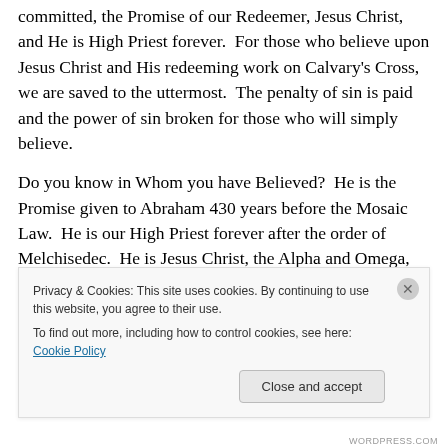committed, the Promise of our Redeemer, Jesus Christ, and He is High Priest forever. For those who believe upon Jesus Christ and His redeeming work on Calvary's Cross, we are saved to the uttermost. The penalty of sin is paid and the power of sin broken for those who will simply believe.
Do you know in Whom you have Believed? He is the Promise given to Abraham 430 years before the Mosaic Law. He is our High Priest forever after the order of Melchisedec. He is Jesus Christ, the Alpha and Omega, the beginning and the ending, which is, and which was,
Privacy & Cookies: This site uses cookies. By continuing to use this website, you agree to their use.
To find out more, including how to control cookies, see here: Cookie Policy
Close and accept